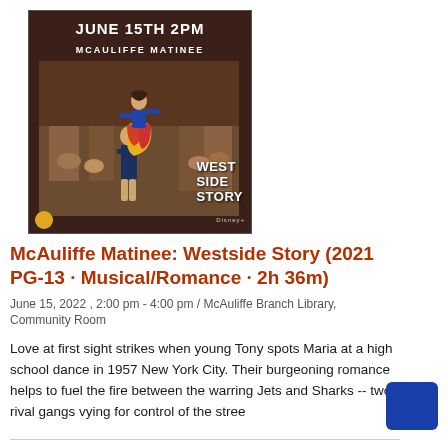[Figure (photo): West Side Story (2021) movie poster showing two dancers — a man lifting a woman in a colorful skirt — against a brownstone city backdrop. Header text reads JUNE 15TH 2PM and MCAULIFFE MATINEE in white. The West Side Story logo appears in the lower right. Disney+ branding at bottom.]
McAuliffe Matinee: Westside Story (2021 PG-13 · Musical/Romance · 2h 36m)
June 15, 2022 , 2:00 pm - 4:00 pm / McAuliffe Branch Library, Community Room
Love at first sight strikes when young Tony spots Maria at a high school dance in 1957 New York City. Their burgeoning romance helps to fuel the fire between the warring Jets and Sharks -- two rival gangs vying for control of the stree